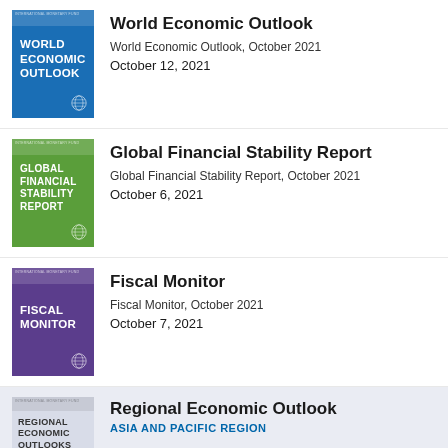[Figure (other): Cover of World Economic Outlook report, blue background with white bold text]
World Economic Outlook
World Economic Outlook, October 2021
October 12, 2021
[Figure (other): Cover of Global Financial Stability Report, green background with white bold text]
Global Financial Stability Report
Global Financial Stability Report, October 2021
October 6, 2021
[Figure (other): Cover of Fiscal Monitor report, purple background with white bold text]
Fiscal Monitor
Fiscal Monitor, October 2021
October 7, 2021
[Figure (other): Cover of Regional Economic Outlooks report, grey/light background with teal stripe]
Regional Economic Outlook
ASIA AND PACIFIC REGION